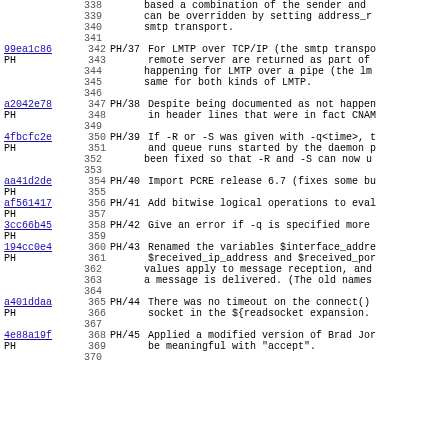338  based a combination of the sender and
339  can be overridden by setting address_r
340  smtp transport.
341
99ea1c86 PH  342 PH/37 For LMTP over TCP/IP (the smtp transpo
343  remote server are returned as part of
344  happening for LMTP over a pipe (the lm
345  same for both kinds of LMTP.
346
a2042e78 PH  347 PH/38 Despite being documented as not happen
348  in header lines that were in fact CNAM
349
4fbcfc2e PH  350 PH/39 If -R or -S was given with -q<time>, t
351  and queue runs started by the daemon p
352  been fixed so that -R and -S can now u
353
aa41d2de PH  354 PH/40 Import PCRE release 6.7 (fixes some bu
355
af561417 PH  356 PH/41 Add bitwise logical operations to eval
357
3cc66b45 PH  358 PH/42 Give an error if -q is specified more
359
194cc0e4 PH  360 PH/43 Renamed the variables $interface_addre
361  $received_ip_address and $received_por
362  values apply to message reception, and
363  a message is delivered. (The old names
364
a401ddaa PH  365 PH/44 There was no timeout on the connect()
366  socket in the ${readsocket expansion.
367
4e88a19f PH  368 PH/45 Applied a modified version of Brad Jor
369  be meaningful with "accept".
370